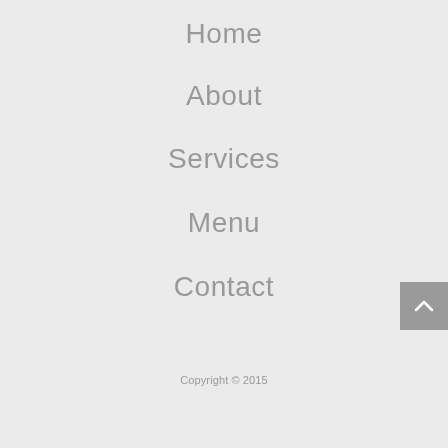Home
About
Services
Menu
Contact
Copyright © 2015